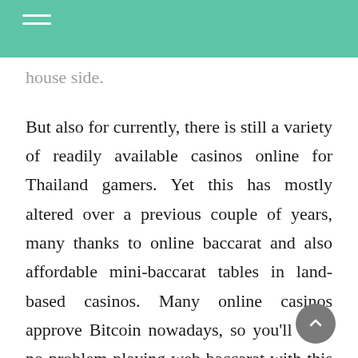house side.
But also for currently, there is still a variety of readily available casinos online for Thailand gamers. Yet this has mostly altered over a previous couple of years, many thanks to online baccarat and also affordable mini-baccarat tables in land-based casinos. Many online casinos approve Bitcoin nowadays, so you'll have no problem playing web baccarat with this cryptocurrency. On the internet, baccarat is lawful in nearly every nation, consisting of the USA and Canada. For many years, baccarat was called a casino video